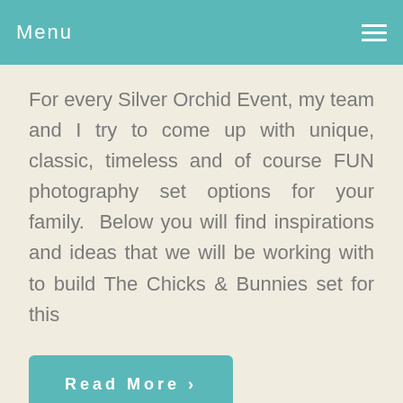Menu
For every Silver Orchid Event, my team and I try to come up with unique, classic, timeless and of course FUN photography set options for your family.  Below you will find inspirations and ideas that we will be working with to build The Chicks & Bunnies set for this
Read More ›
Filed Under: Chicks & Bunnies